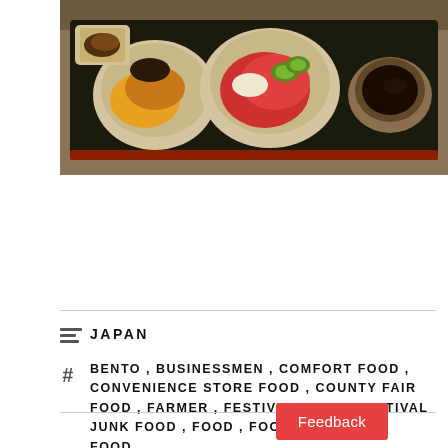[Figure (photo): Photo of a Japanese food tray with multiple bowls containing various dishes including what appears to be bento/teishoku style meal with small dishes of food on a dark wooden tray]
JAPAN
BENTO, BUSINESSMEN, COMFORT FOOD, CONVENIENCE STORE FOOD, COUNTY FAIR FOOD, FARMER, FESTIVAL FOOD, FESTIVAL JUNK FOOD, FOOD, FOOD AND DRINK, FOOD PYRAMID, JAPAN, JAPANESE CUISINE, JUNK FOOD OVERLOWS, MAINICHI DAILY NEWS, MISO, NEW YORK, RAMEN, SASHIMI, SHINOBU KOBAYASHI, SQUID, SUSHI, TEMPURA, UNITED STATES, USD, YŌSHOKU
Feedback